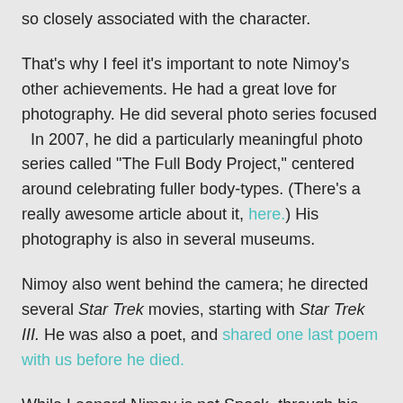so closely associated with the character.
That's why I feel it's important to note Nimoy's other achievements. He had a great love for photography. He did several photo series focused  In 2007, he did a particularly meaningful photo series called "The Full Body Project," centered around celebrating fuller body-types. (There's a really awesome article about it, here.) His photography is also in several museums.
Nimoy also went behind the camera; he directed several Star Trek movies, starting with Star Trek III. He was also a poet, and shared one last poem with us before he died.
While Leonard Nimoy is not Spock, through his roles in Star Trek over the years, he has impacted many people, the nerd community in particular. As Jaime mentioned before, Nimoy